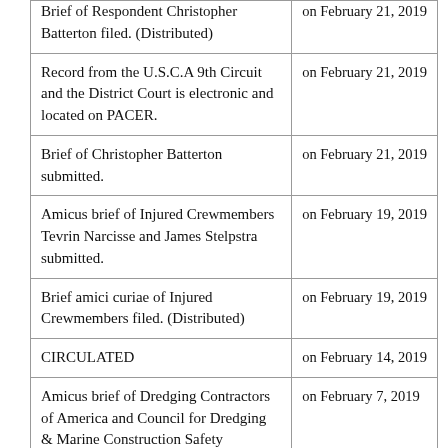| Description | Date |
| --- | --- |
| Brief of Respondent Christopher Batterton filed. (Distributed) | on February 21, 2019 |
| Record from the U.S.C.A 9th Circuit and the District Court is electronic and located on PACER. | on February 21, 2019 |
| Brief of Christopher Batterton submitted. | on February 21, 2019 |
| Amicus brief of Injured Crewmembers Tevrin Narcisse and James Stelpstra submitted. | on February 19, 2019 |
| Brief amici curiae of Injured Crewmembers filed. (Distributed) | on February 19, 2019 |
| CIRCULATED | on February 14, 2019 |
| Amicus brief of Dredging Contractors of America and Council for Dredging & Marine Construction Safety submitted. | on February 7, 2019 |